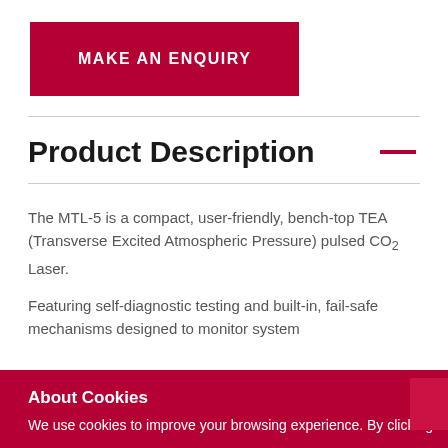MAKE AN ENQUIRY
Product Description
The MTL-5 is a compact, user-friendly, bench-top TEA (Transverse Excited Atmospheric Pressure) pulsed CO2 Laser.
Featuring self-diagnostic testing and built-in, fail-safe mechanisms designed to monitor system
About Cookies
We use cookies to improve your browsing experience. By clicking